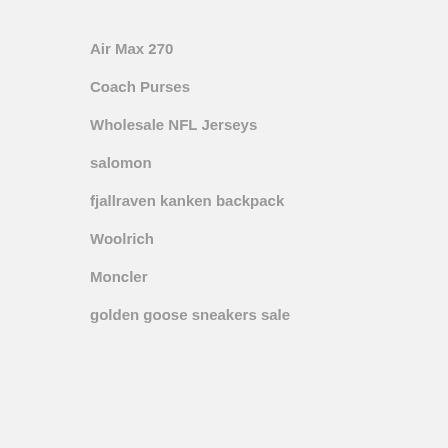Air Max 270
Coach Purses
Wholesale NFL Jerseys
salomon
fjallraven kanken backpack
Woolrich
Moncler
golden goose sneakers sale